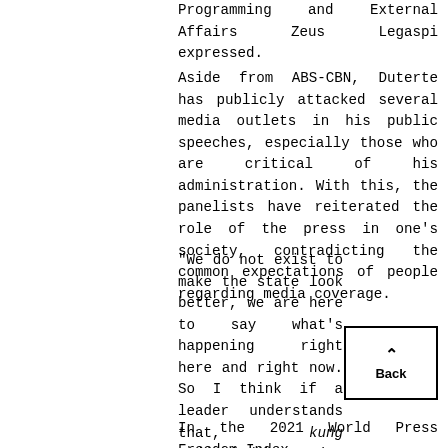Programming and External Affairs Zeus Legaspi expressed.
Aside from ABS-CBN, Duterte has publicly attacked several media outlets in his public speeches, especially those who are critical of his administration. With this, the panelists have reiterated the role of the press in one’s society, contradicting the common expectations of people regarding media coverage.
“We do not exist to make the state look better, we are here to say what’s happening right here and right now. So I think if a leader understands that, kung naiintindihan niya kung bakit may mga taong nagsasalita nang gan’to, bakit ka papatayin?,” Pantorilla said.
In the 2021 World Press Freedom Index